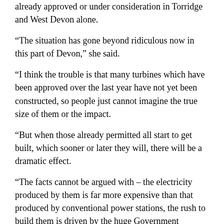already approved or under consideration in Torridge and West Devon alone.
“The situation has gone beyond ridiculous now in this part of Devon,” she said.
“I think the trouble is that many turbines which have been approved over the last year have not yet been constructed, so people just cannot imagine the true size of them or the impact.
“But when those already permitted all start to get built, which sooner or later they will, there will be a dramatic effect.
“The facts cannot be argued with – the electricity produced by them is far more expensive than that produced by conventional power stations, the rush to build them is driven by the huge Government subsidies which continue to be paid to developers and landowners for installations, and all these costs are added onto all of our energy bills, forcing more and more people into fuel poverty.